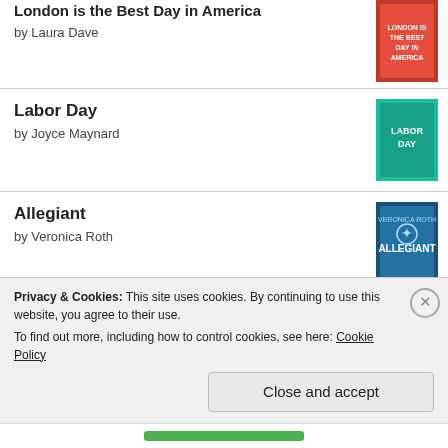London is the Best Day in America — by Laura Dave
Labor Day — by Joyce Maynard
Allegiant — by Veronica Roth
Never Go Back — by Lee Child
The Silent Wife — by A. S. A. Harrison
Privacy & Cookies: This site uses cookies. By continuing to use this website, you agree to their use.
To find out more, including how to control cookies, see here: Cookie Policy
Close and accept